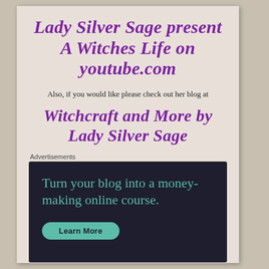Lady Silver Sage present A Witches Life on youtube.com
Also, if you would like please check out her blog at
Witchcraft and More by Lady Silver Sage
Advertisements
[Figure (infographic): Dark advertisement box with teal text reading 'Turn your blog into a money-making online course.' and a teal 'Learn More' button at the bottom.]